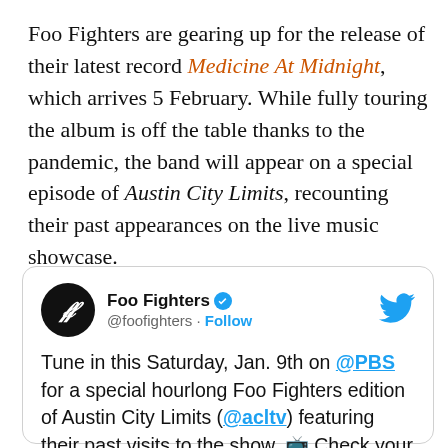Foo Fighters are gearing up for the release of their latest record Medicine At Midnight, which arrives 5 February. While fully touring the album is off the table thanks to the pandemic, the band will appear on a special episode of Austin City Limits, recounting their past appearances on the live music showcase.
[Figure (screenshot): Embedded tweet from @foofighters (Foo Fighters verified Twitter account) with Twitter bird logo. Tweet text: 'Tune in this Saturday, Jan. 9th on @PBS for a special hourlong Foo Fighters edition of Austin City Limits (@acltv) featuring their past visits to the show. 📺 Check your local listings or stream it after the broadcast at pbs.org/austincitylimi....']